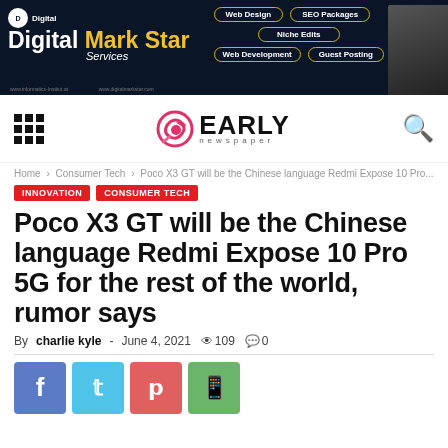[Figure (illustration): Digital Mark Star Services advertisement banner with dark navy background, logo, service buttons (Web Design, SEO Packages, Niche Edits, Web Development, Guest Posting), and a man in suit on the right.]
[Figure (logo): Early Newspaper logo with stylized 'e' icon in red/pink gradient and bold EARLY text with 'newspaper' below.]
Home > Consumer Tech > Poco X3 GT will be the Chinese language Redmi Expose 10 Pro...
INNOVATION   CONSUMER TECH
Poco X3 GT will be the Chinese language Redmi Expose 10 Pro 5G for the rest of the world, rumor says
By charlie kyle - June 4, 2021  109  0
[Figure (illustration): Social share buttons: Facebook (blue), Twitter (light blue), Pinterest (red), WhatsApp (green)]